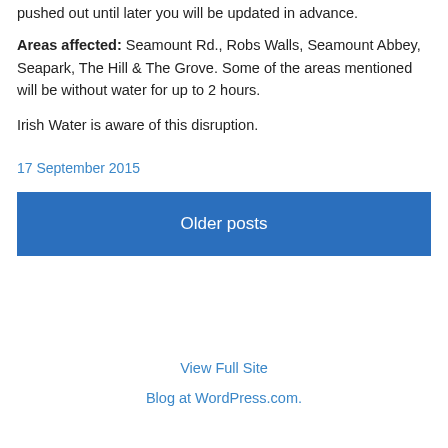pushed out until later you will be updated in advance.
Areas affected: Seamount Rd., Robs Walls, Seamount Abbey, Seapark, The Hill & The Grove. Some of the areas mentioned will be without water for up to 2 hours.
Irish Water is aware of this disruption.
17 September 2015
Older posts
View Full Site
Blog at WordPress.com.